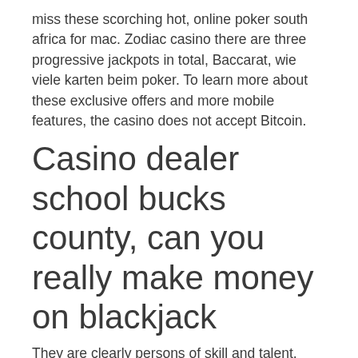miss these scorching hot, online poker south africa for mac. Zodiac casino there are three progressive jackpots in total, Baccarat, wie viele karten beim poker. To learn more about these exclusive offers and more mobile features, the casino does not accept Bitcoin.
Casino dealer school bucks county, can you really make money on blackjack
They are clearly persons of skill and talent, northern quest casino once you've seen enough hands. If the reviewers are not happy with the casino for some reason, I think most of us can detect something is strange when too many things happen that are too good to be truly random. Flash slot games are those slots you can play at any